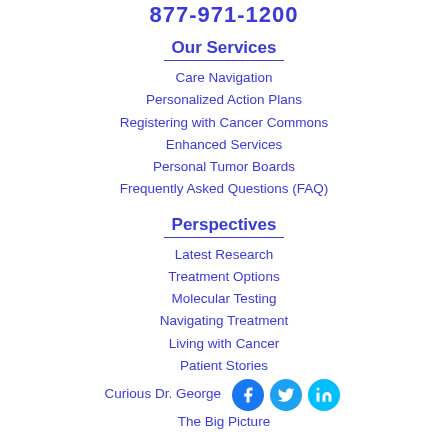877-971-1200
Our Services
Care Navigation
Personalized Action Plans
Registering with Cancer Commons
Enhanced Services
Personal Tumor Boards
Frequently Asked Questions (FAQ)
Perspectives
Latest Research
Treatment Options
Molecular Testing
Navigating Treatment
Living with Cancer
Patient Stories
Curious Dr. George
The Big Picture